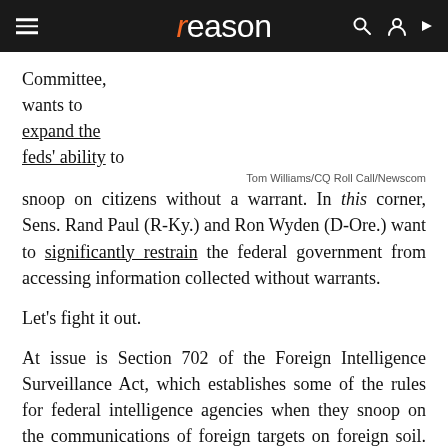reason
Committee, wants to expand the feds' ability to snoop on citizens without a warrant. In this corner, Sens. Rand Paul (R-Ky.) and Ron Wyden (D-Ore.) want to significantly restrain the federal government from accessing information collected without warrants.
Tom Williams/CQ Roll Call/Newscom
Let's fight it out.
At issue is Section 702 of the Foreign Intelligence Surveillance Act, which establishes some of the rules for federal intelligence agencies when they snoop on the communications of foreign targets on foreign soil. This process has been subject to abuse: Surveillance of a foreign target can give investigators access to